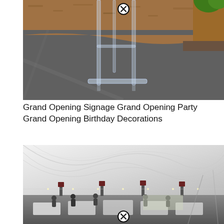[Figure (photo): Acrylic/lucite easel stand on asphalt/gravel with mulch and potted plant in background. Close/X button visible at top center.]
Grand Opening Signage Grand Opening Party Grand Opening Birthday Decorations
[Figure (photo): Interior of a large white tent/marquee with draped ceiling fabric, string lights, speakers on poles, and people setting up tables. Close/X button visible at bottom center.]